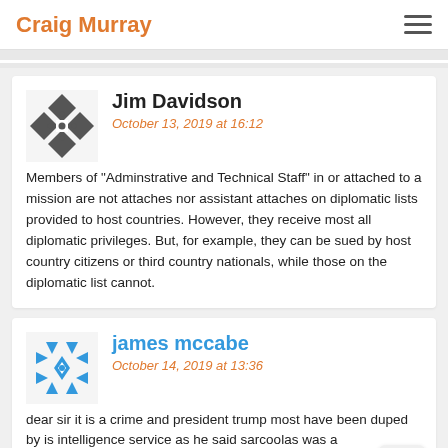Craig Murray
Jim Davidson
October 13, 2019 at 16:12
Members of "Adminstrative and Technical Staff" in or attached to a mission are not attaches nor assistant attaches on diplomatic lists provided to host countries. However, they receive most all diplomatic privileges. But, for example, they can be sued by host country citizens or third country nationals, while those on the diplomatic list cannot.
james mccabe
October 14, 2019 at 13:36
dear sir it is a crime and president trump most have been duped by is intelligence service as he said sarcoolas was a